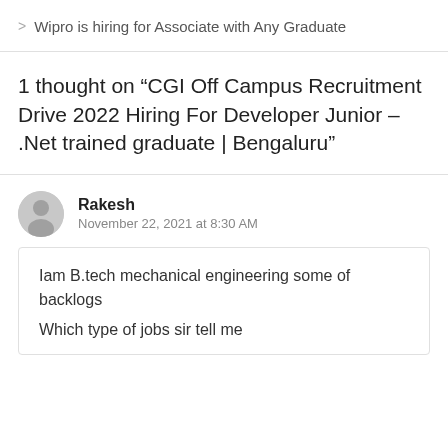> Wipro is hiring for Associate with Any Graduate
1 thought on “CGI Off Campus Recruitment Drive 2022 Hiring For Developer Junior – .Net trained graduate | Bengaluru”
Rakesh
November 22, 2021 at 8:30 AM
Iam B.tech mechanical engineering some of backlogs
Which type of jobs sir tell me